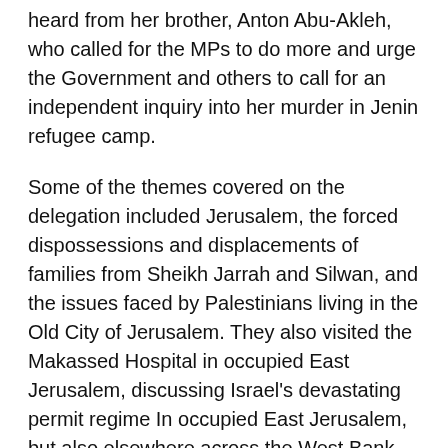heard from her brother, Anton Abu-Akleh, who called for the MPs to do more and urge the Government and others to call for an independent inquiry into her murder in Jenin refugee camp.
Some of the themes covered on the delegation included Jerusalem, the forced dispossessions and displacements of families from Sheikh Jarrah and Silwan, and the issues faced by Palestinians living in the Old City of Jerusalem. They also visited the Makassed Hospital in occupied East Jerusalem, discussing Israel's devastating permit regime In occupied East Jerusalem, but also elsewhere across the West Bank, the delegation paid a great deal of attention to settlement expansion, settler impunity and settler violence, not least in the Palestinian villages of Beita and Burin near to Nablus. Here the number of settler attacks on Palestinian homes, farmers and